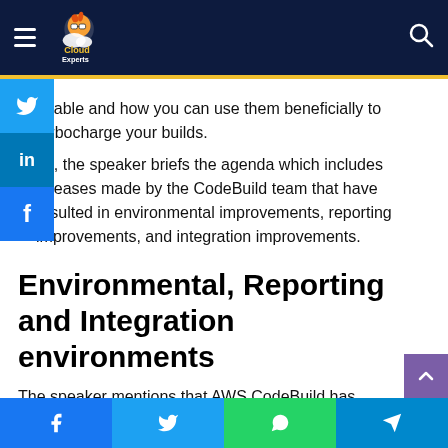Cloud Experts - navigation header
enable and how you can use them beneficially to turbocharge your builds.
49, the speaker briefs the agenda which includes releases made by the CodeBuild team that have resulted in environmental improvements, reporting improvements, and integration improvements.
Environmental, Reporting and Integration environments
The speaker mentions that AWS CodeBuild has been very